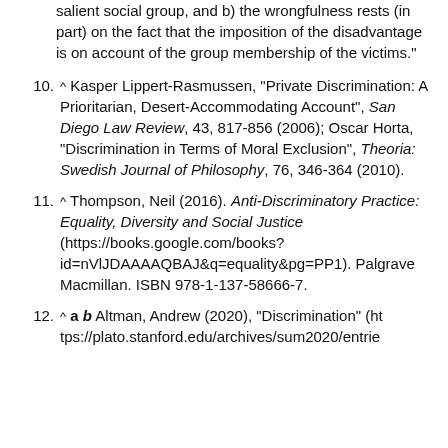salient social group, and b) the wrongfulness rests (in part) on the fact that the imposition of the disadvantage is on account of the group membership of the victims."
10. ^ Kasper Lippert-Rasmussen, "Private Discrimination: A Prioritarian, Desert-Accommodating Account", San Diego Law Review, 43, 817-856 (2006); Oscar Horta, "Discrimination in Terms of Moral Exclusion", Theoria: Swedish Journal of Philosophy, 76, 346-364 (2010).
11. ^ Thompson, Neil (2016). Anti-Discriminatory Practice: Equality, Diversity and Social Justice (https://books.google.com/books?id=nVlJDAAAAQBAJ&q=equality&pg=PP1). Palgrave Macmillan. ISBN 978-1-137-58666-7.
12. ^ a b Altman, Andrew (2020), "Discrimination" (https://plato.stanford.edu/archives/sum2020/entrie